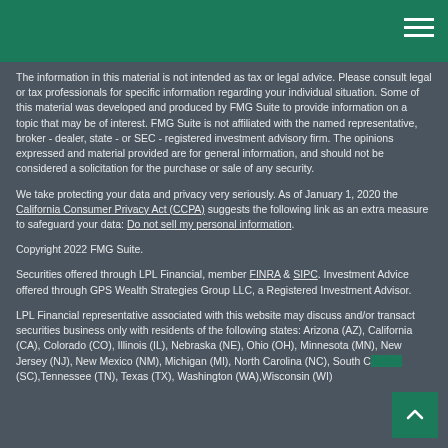The information in this material is not intended as tax or legal advice. Please consult legal or tax professionals for specific information regarding your individual situation. Some of this material was developed and produced by FMG Suite to provide information on a topic that may be of interest. FMG Suite is not affiliated with the named representative, broker - dealer, state - or SEC - registered investment advisory firm. The opinions expressed and material provided are for general information, and should not be considered a solicitation for the purchase or sale of any security.
We take protecting your data and privacy very seriously. As of January 1, 2020 the California Consumer Privacy Act (CCPA) suggests the following link as an extra measure to safeguard your data: Do not sell my personal information.
Copyright 2022 FMG Suite.
Securities offered through LPL Financial, member FINRA & SIPC. Investment Advice offered through GPS Wealth Strategies Group LLC, a Registered Investment Advisor.
LPL Financial representative associated with this website may discuss and/or transact securities business only with residents of the following states: Arizona (AZ), California (CA), Colorado (CO), Illinois (IL), Nebraska (NE), Ohio (OH), Minnesota (MN), New Jersey (NJ), New Mexico (NM), Michigan (MI), North Carolina (NC), South Carolina (SC),Tennessee (TN), Texas (TX), Washington (WA),Wisconsin (WI)